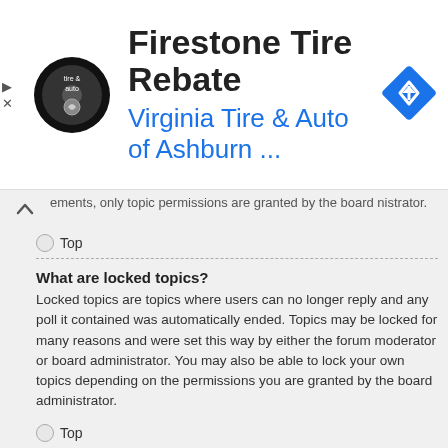[Figure (other): Advertisement banner: Firestone Tire Rebate - Virginia Tire & Auto of Ashburn ... with tire & auto logo and blue diamond navigation icon]
...ements, only topic permissions are granted by the board administrator.
Top
What are locked topics?
Locked topics are topics where users can no longer reply and any poll it contained was automatically ended. Topics may be locked for many reasons and were set this way by either the forum moderator or board administrator. You may also be able to lock your own topics depending on the permissions you are granted by the board administrator.
Top
What are topic icons?
Topic icons are author chosen images associated with posts to indicate their content. The ability to use topic icons depends on the permissions set by the board administrator.
Top